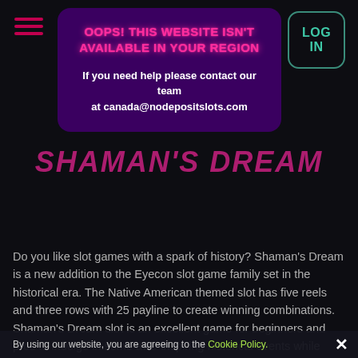[Figure (screenshot): Hamburger menu icon with three pink/red horizontal lines]
[Figure (screenshot): LOG IN button with teal border and rounded corners]
OOPS! THIS WEBSITE ISN'T AVAILABLE IN YOUR REGION
If you need help please contact our team at canada@nodepositslots.com
SHAMAN'S DREAM
Do you like slot games with a spark of history? Shaman's Dream is a new addition to the Eyecon slot game family set in the historical era. The Native American themed slot has five reels and three rows with 25 payline to create winning combinations. Shaman's Dream slot is an excellent game for beginners and pros to indulge in some awe-inspiring historical events while enjoying the slot. And fo
By using our website, you are agreeing to the Cookie Policy.